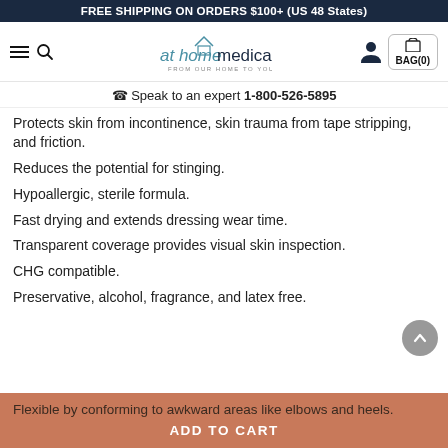FREE SHIPPING ON ORDERS $100+ (US 48 States)
[Figure (logo): At Home Medical logo with house icon and tagline FROM OUR HOME TO YOURS]
Speak to an expert 1-800-526-5895
Protects skin from incontinence, skin trauma from tape stripping, and friction.
Reduces the potential for stinging.
Hypoallergic, sterile formula.
Fast drying and extends dressing wear time.
Transparent coverage provides visual skin inspection.
CHG compatible.
Preservative, alcohol, fragrance, and latex free.
Flexible by conforming to awkward areas like elbows and heels.
ADD TO CART